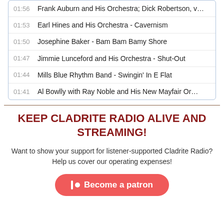01:56  Frank Auburn and His Orchestra; Dick Robertson, v…
01:53  Earl Hines and His Orchestra - Cavernism
01:50  Josephine Baker - Bam Bam Bamy Shore
01:47  Jimmie Lunceford and His Orchestra - Shut-Out
01:44  Mills Blue Rhythm Band - Swingin' In E Flat
01:41  Al Bowlly with Ray Noble and His New Mayfair Or…
KEEP CLADRITE RADIO ALIVE AND STREAMING!
Want to show your support for listener-supported Cladrite Radio? Help us cover our operating expenses!
Become a patron